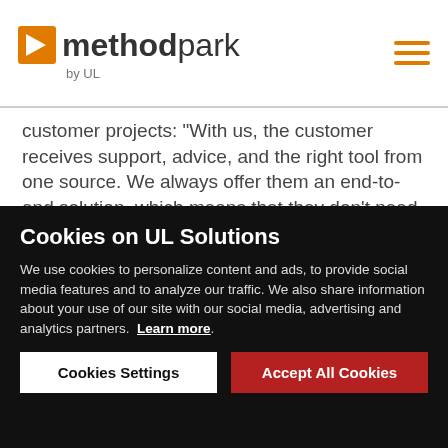method park by UL
customer projects: “With us, the customer receives support, advice, and the right tool from one source. We always offer them an end-to-end solution, which means that they don’t need to turn to multiple providers,” says Method Park CEO Professor Bernd Hindel of the advantage of the Group’s business model.
Cookies on UL Solutions
We use cookies to personalize content and ads, to provide social media features and to analyze our traffic. We also share information about your use of our site with our social media, advertising and analytics partners. Learn more
Cookies Settings | Accept All Cookies